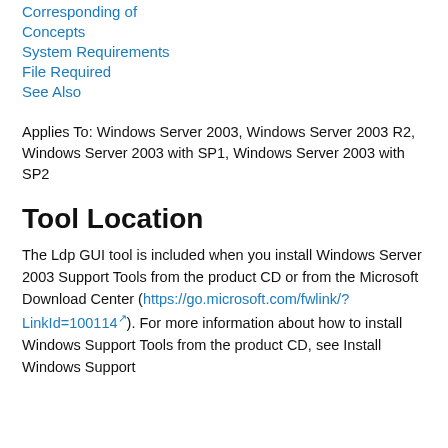Corresponding of
Concepts
System Requirements
File Required
See Also
Applies To: Windows Server 2003, Windows Server 2003 R2, Windows Server 2003 with SP1, Windows Server 2003 with SP2
Tool Location
The Ldp GUI tool is included when you install Windows Server 2003 Support Tools from the product CD or from the Microsoft Download Center (https://go.microsoft.com/fwlink/?LinkId=100114). For more information about how to install Windows Support Tools from the product CD, see Install Windows Support